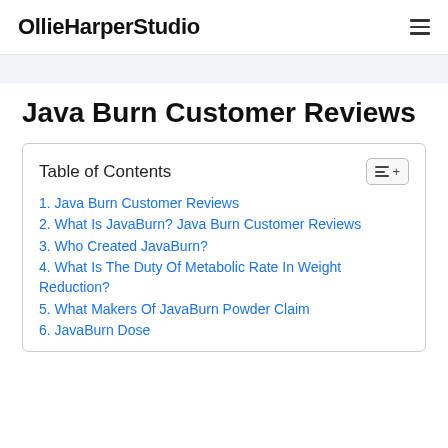OllieHarperStudio
Java Burn Customer Reviews
Table of Contents
1. Java Burn Customer Reviews
2. What Is JavaBurn? Java Burn Customer Reviews
3. Who Created JavaBurn?
4. What Is The Duty Of Metabolic Rate In Weight Reduction?
5. What Makers Of JavaBurn Powder Claim
6. JavaBurn Dose